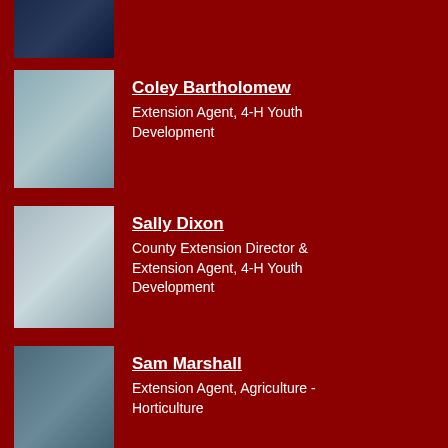[Figure (photo): Partial photo of a person in dark clothing at the top of the page]
Coley Bartholomew
Extension Agent, 4-H Youth Development
[Figure (photo): Photo of Coley Bartholomew, a woman with dark hair]
Sally Dixon
County Extension Director & Extension Agent, 4-H Youth Development
[Figure (photo): Photo of Sally Dixon, a woman with glasses]
Sam Marshall
Extension Agent, Agriculture - Horticulture
[Figure (photo): Photo of Sam Marshall, a man sitting outdoors]
Let's Get In Touch
Haywood County Center
STREET ADDRESS:
589 Raccoon Rd
Suite 118
MAILING ADDRESS:
589 Raccoon Rd
Suite 118